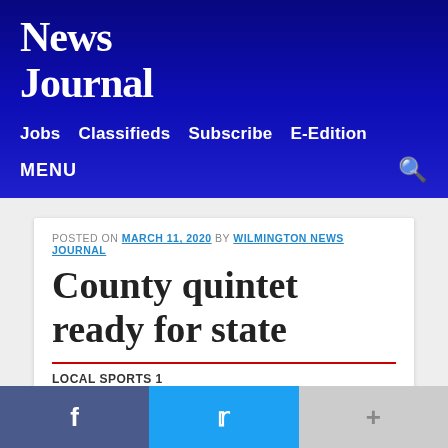News Journal
Jobs  Classifieds  Subscribe  E-Edition
MENU
POSTED ON MARCH 11, 2020 BY WILMINGTON NEWS JOURNAL
County quintet ready for state
LOCAL SPORTS 1
Wrestling begins 3 p.m. Friday at OSU's Schottenstein Center